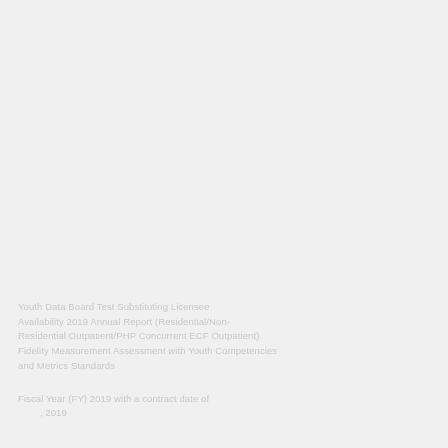Youth Data Board Test Substituting Licensee Availability 2019 Annual Report (Residential/Non-Residential Outpatient/PHP Concurrent ECF Outpatient) Fidelity Measurement Assessment with Youth Competencies and Metrics Standards
Fiscal Year (FY) 2019 with a contract date of